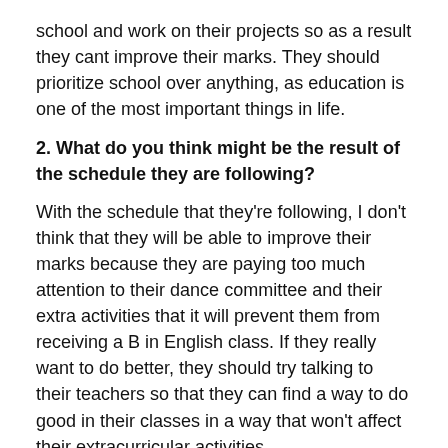school and work on their projects so as a result they cant improve their marks. They should prioritize school over anything, as education is one of the most important things in life.
2. What do you think might be the result of the schedule they are following?
With the schedule that they're following, I don't think that they will be able to improve their marks because they are paying too much attention to their dance committee and their extra activities that it will prevent them from receiving a B in English class. If they really want to do better, they should try talking to their teachers so that they can find a way to do good in their classes in a way that won't affect their extracurricular activities.
3. If they don't do well on their English work, will they blame others or themselves?